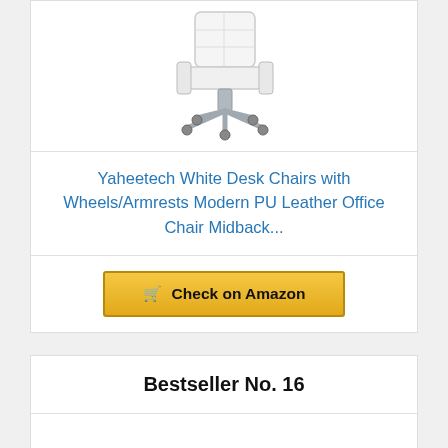[Figure (photo): White office desk chair with armrests, PU leather, chrome base with wheels, mid-back style]
Yaheetech White Desk Chairs with Wheels/Armrests Modern PU Leather Office Chair Midback...
🛒 Check on Amazon
Bestseller No. 16